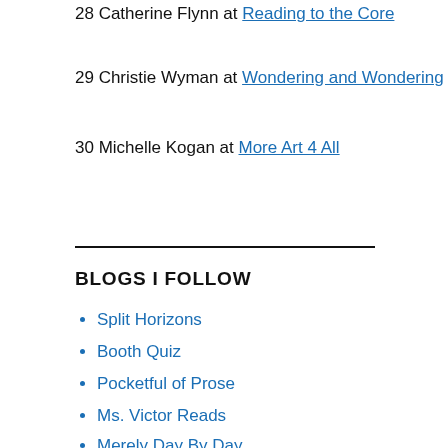28 Catherine Flynn at Reading to the Core
29 Christie Wyman at Wondering and Wondering
30 Michelle Kogan at More Art 4 All
BLOGS I FOLLOW
Split Horizons
Booth Quiz
Pocketful of Prose
Ms. Victor Reads
Merely Day By Day